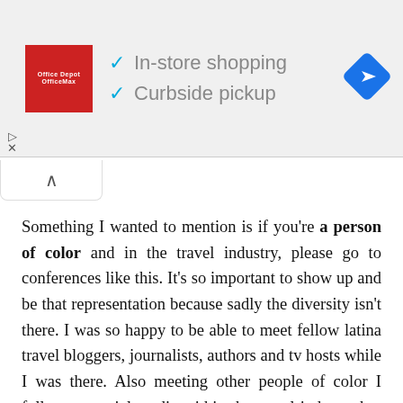[Figure (infographic): Advertisement banner for Office Depot/OfficeMax showing red logo, checkmarks for In-store shopping and Curbside pickup, and a blue navigation/maps icon on the right]
Something I wanted to mention is if you're a person of color and in the travel industry, please go to conferences like this. It's so important to show up and be that representation because sadly the diversity isn't there. I was so happy to be able to meet fellow latina travel bloggers, journalists, authors and tv hosts while I was there. Also meeting other people of color I follow on social media within the travel industry but sadly it was just a handful. The diversity within certain panels was non existent. During one of the Q&A sessions, a women in the audience made a point of speaking about the lack of